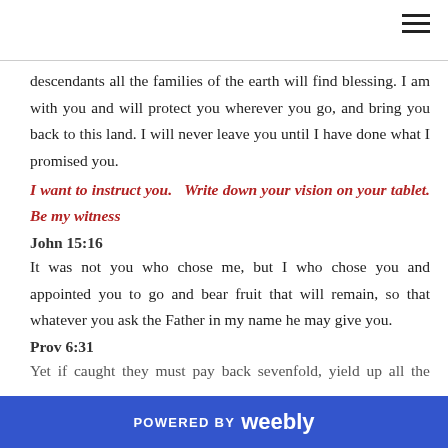descendants all the families of the earth will find blessing. I am with you and will protect you wherever you go, and bring you back to this land. I will never leave you until I have done what I promised you.
I want to instruct you.  Write down your vision on your tablet. Be my witness
John 15:16
It was not you who chose me, but I who chose you and appointed you to go and bear fruit that will remain, so that whatever you ask the Father in my name he may give you.
Prov 6:31
Yet if caught they must pay back sevenfold, yield up all the wealth of their house.
Joel 2:25
POWERED BY weebly